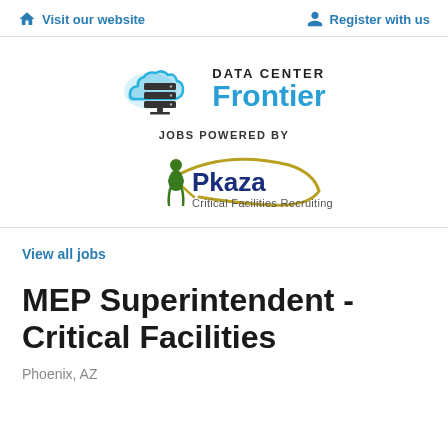Visit our website   Register with us
[Figure (logo): Data Center Frontier logo with cloud and server stack icon, blue text reading DATA CENTER Frontier, below it JOBS POWERED BY, then Pkaza Critical Facilities Recruiting logo with green figure and gold ellipse]
View all jobs
MEP Superintendent - Critical Facilities
Phoenix, AZ